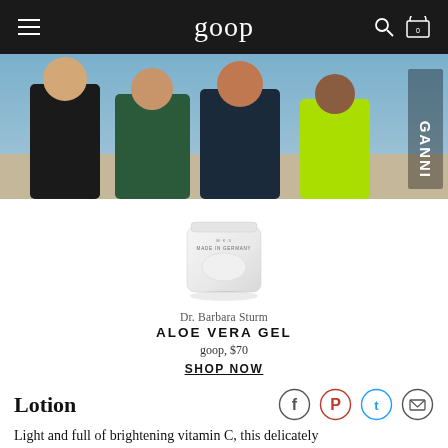goop
[Figure (photo): Banner photo of four women posing together wearing colorful summer outfits, with GANNI text on the right side]
[Figure (photo): Product image of Dr. Barbara Sturm Aloe Vera Gel white jar container, labeled MADE IN GERMANY]
Dr. Barbara Sturm
ALOE VERA GEL
goop, $70
SHOP NOW
Lotion
Light and full of brightening vitamin C, this delicately